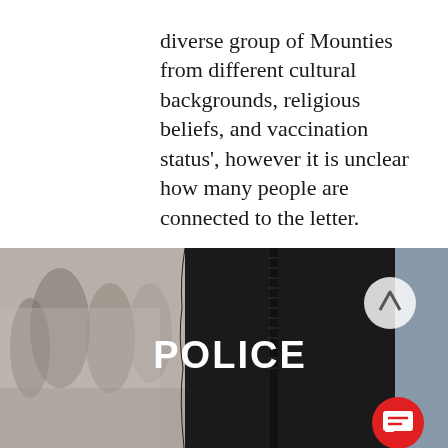diverse group of Mounties from different cultural backgrounds, religious beliefs, and vaccination status', however it is unclear how many people are connected to the letter. As of when this article was published there were over 40,000 signatures in support of this open letter. To sign, scroll to the bottom of the letter. There has yet to be a response from Commissioner Brenda Lucki.
[Figure (photo): A police officer wearing a black tactical vest with 'POLICE' written in white letters on the back, photographed from behind. A crowd of blurred people is visible in the background. A scroll-up arrow button appears in the upper right of the image, and a red chat/message button appears in the lower right.]